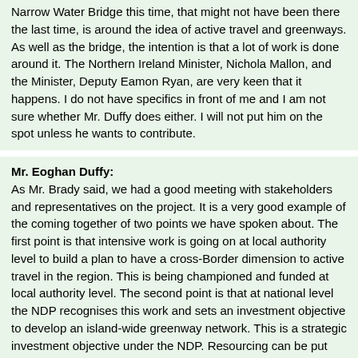Narrow Water Bridge this time, that might not have been there the last time, is around the idea of active travel and greenways. As well as the bridge, the intention is that a lot of work is done around it. The Northern Ireland Minister, Nichola Mallon, and the Minister, Deputy Eamon Ryan, are very keen that it happens. I do not have specifics in front of me and I am not sure whether Mr. Duffy does either. I will not put him on the spot unless he wants to contribute.
Mr. Eoghan Duffy: As Mr. Brady said, we had a good meeting with stakeholders and representatives on the project. It is a very good example of the coming together of two points we have spoken about. The first point is that intensive work is going on at local authority level to build a plan to have a cross-Border dimension to active travel in the region. This is being championed and funded at local authority level. The second point is that at national level the NDP recognises this work and sets an investment objective to develop an island-wide greenway network. This is a strategic investment objective under the NDP. Resourcing can be put behind this. It requires local authorities on either side of the Border to come together and put forward an integrated approach. As Ms O'Donoghue said, this is very much part of the approach on the Narrow Water Bridge project and the area.
Fergus O'Dowd (Louth, Fine Gael)